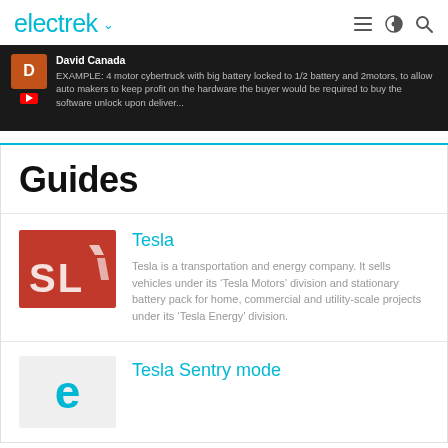electrek
[Figure (screenshot): Comment preview from David Canada about 4 motor cybertruck with big battery locked to 1/2 battery and 2motors example]
Guides
Tesla
[Figure (photo): Tesla logo on red background showing 'SL' letters]
Tesla is a transportation and energy company. It sells vehicles under its 'Tesla Motors' division and stationary battery pack for home, commercial and utility-scale projects under its 'Tesla Energy' division.
Tesla Sentry mode
[Figure (logo): Electrek 'e' logo in teal/cyan color on light gray background]